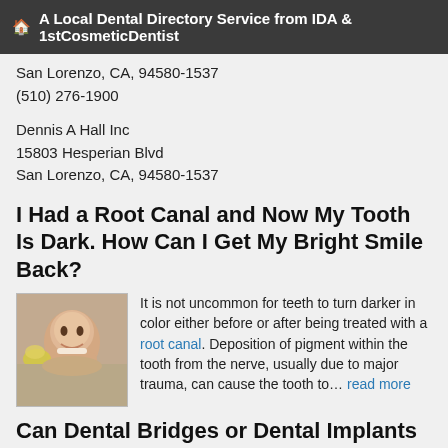🏠 A Local Dental Directory Service from IDA & 1stCosmeticDentist
San Lorenzo, CA, 94580-1537
(510) 276-1900
Dennis A Hall Inc
15803 Hesperian Blvd
San Lorenzo, CA, 94580-1537
I Had a Root Canal and Now My Tooth Is Dark. How Can I Get My Bright Smile Back?
[Figure (photo): Smiling woman with yellow flowers]
It is not uncommon for teeth to turn darker in color either before or after being treated with a root canal. Deposition of pigment within the tooth from the nerve, usually due to major trauma, can cause the tooth to… read more
Can Dental Bridges or Dental Implants Replace a Single Missing Tooth?
[Figure (photo): Woman with cosmetic dental photo]
There are many cosmetic dentistry options